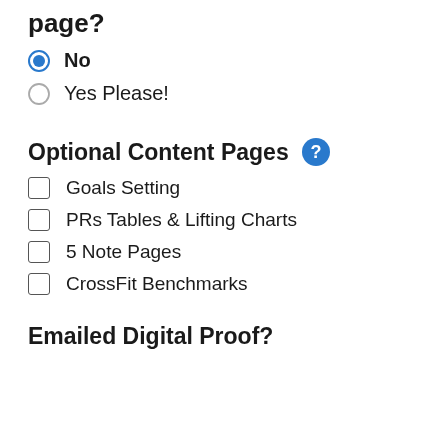page?
No (selected radio)
Yes Please!
Optional Content Pages
Goals Setting
PRs Tables & Lifting Charts
5 Note Pages
CrossFit Benchmarks
Emailed Digital Proof?